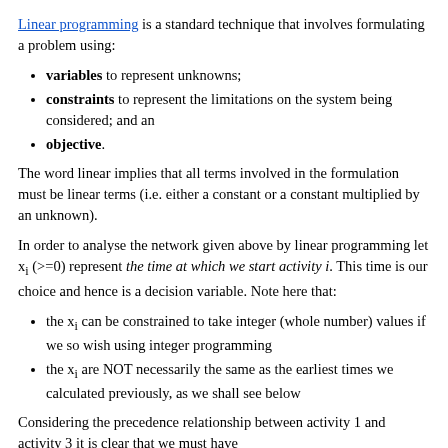Linear programming is a standard technique that involves formulating a problem using:
variables to represent unknowns;
constraints to represent the limitations on the system being considered; and an
objective.
The word linear implies that all terms involved in the formulation must be linear terms (i.e. either a constant or a constant multiplied by an unknown).
In order to analyse the network given above by linear programming let x_i (>=0) represent the time at which we start activity i. This time is our choice and hence is a decision variable. Note here that:
the x_i can be constrained to take integer (whole number) values if we so wish using integer programming
the x_i are NOT necessarily the same as the earliest times we calculated previously, as we shall see below
Considering the precedence relationship between activity 1 and activity 3 it is clear that we must have